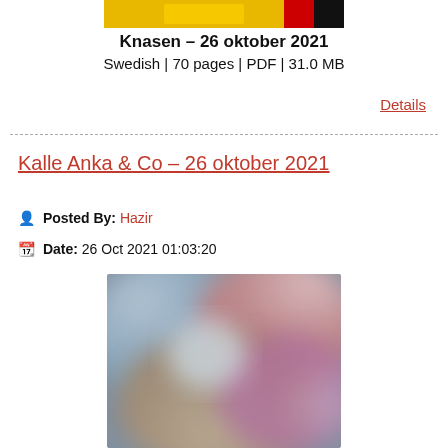[Figure (photo): Partially visible blurred magazine cover at top of page, yellow and red tones]
Knasen – 26 oktober 2021
Swedish | 70 pages | PDF | 31.0 MB
Details
Kalle Anka & Co – 26 oktober 2021
Posted By: Hazir
Date: 26 Oct 2021 01:03:20
[Figure (photo): Blurred magazine cover with colorful abstract background, pinks, blues, and warm tones]